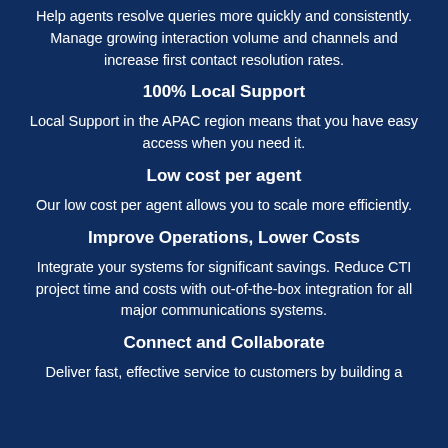Help agents resolve queries more quickly and consistently. Manage growing interaction volume and channels and increase first contact resolution rates.
100% Local Support
Local Support in the APAC region means that you have easy access when you need it.
Low cost per agent
Our low cost per agent allows you to scale more efficiently.
Improve Operations, Lower Costs
Integrate your systems for significant savings. Reduce CTI project time and costs with out-of-the-box integration for all major communications systems.
Connect and Collaborate
Deliver fast, effective service to customers by building a